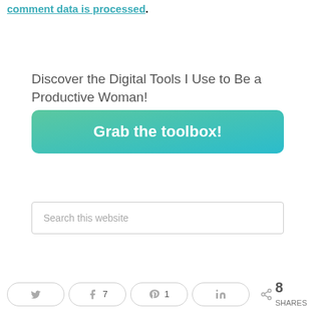comment data is processed.
Discover the Digital Tools I Use to Be a Productive Woman!
[Figure (other): Call-to-action button with gradient background reading 'Grab the toolbox!']
[Figure (other): Search box with placeholder text 'Search this website']
[Figure (other): Social share bar with Twitter, Facebook (7), Pinterest (1), LinkedIn buttons and total 8 SHARES]